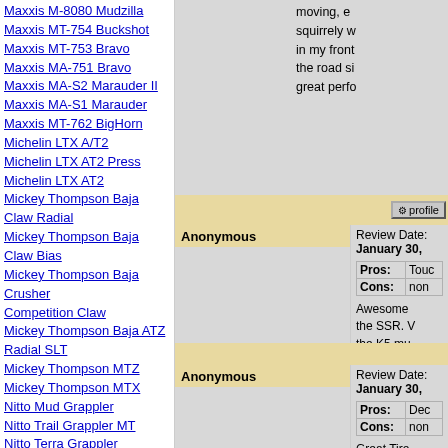Maxxis M-8080 Mudzilla
Maxxis MT-754 Buckshot
Maxxis MT-753 Bravo
Maxxis MA-751 Bravo
Maxxis MA-S2 Marauder II
Maxxis MA-S1 Marauder
Maxxis MT-762 BigHorn
Michelin LTX A/T2
Michelin LTX AT2 Press
Michelin LTX AT2
Mickey Thompson Baja Claw Radial
Mickey Thompson Baja Claw Bias
Mickey Thompson Baja Crusher
Competition Claw
Mickey Thompson Baja ATZ Radial SLT
Mickey Thompson MTZ
Mickey Thompson MTX
Nitto Mud Grappler
Nitto Trail Grappler MT
Nitto Terra Grappler
Nitto Dura Grappler
Nitto Dune Grappler
Nokian Vatiiva MT
Parnelli Jone Dirt Grip
Pit Bull Rocker Extreme
Pit Bull Maddog
Pit Bull Growler
Pit Bull Rocker Extreme
moving, e... squirrely w... in my front... the road si... great perfo...
Anonymous
Review Date: January 30,
Pros: Toug...
Cons: non...
Awesome... the SSR... the K5 mu... some rock... have climb... in the snow...
Anonymous
Review Date: January 30,
Pros: Dec...
Cons: non...
Great Tire... 2001 Chev... road with a... This is...